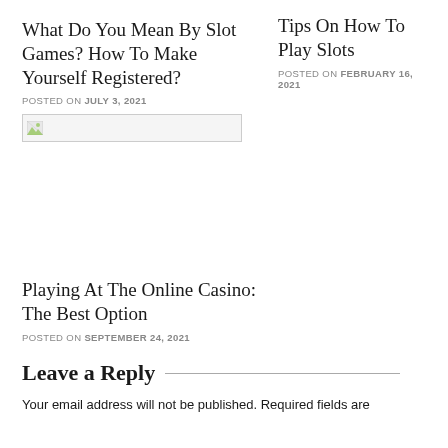What Do You Mean By Slot Games? How To Make Yourself Registered?
POSTED ON JULY 3, 2021
[Figure (other): Broken image placeholder]
Tips On How To Play Slots
POSTED ON FEBRUARY 16, 2021
Playing At The Online Casino: The Best Option
POSTED ON SEPTEMBER 24, 2021
Leave a Reply
Your email address will not be published. Required fields are